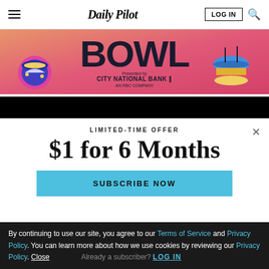Daily Pilot
[Figure (illustration): Colorful advertisement banner with 'BOWL' text and cartoon food illustrations (sushi, burger) on a pink/red gradient background. Sponsored by City National Bank, an RBC Company.]
LIMITED-TIME OFFER
$1 for 6 Months
SUBSCRIBE NOW
By continuing to use our site, you agree to our Terms of Service and Privacy Policy. You can learn more about how we use cookies by reviewing our Privacy Policy. Close
Already a subscriber? LOG IN